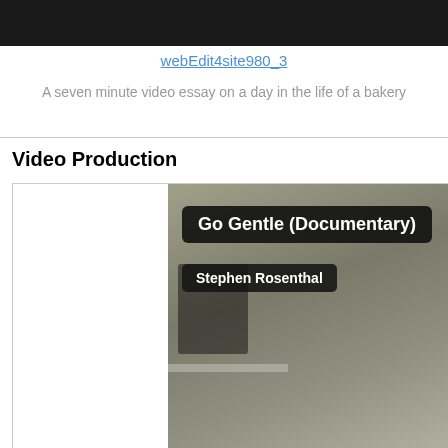[Figure (screenshot): Black header bar at top of webpage]
webEdit4site980_3
A seven minute video essay on a day in the life of a bakery
Video Production
[Figure (screenshot): Video thumbnail showing 'Go Gentle (Documentary)' by Stephen Rosenthal, with dark overlaid title and author badges on a blurred interior background]